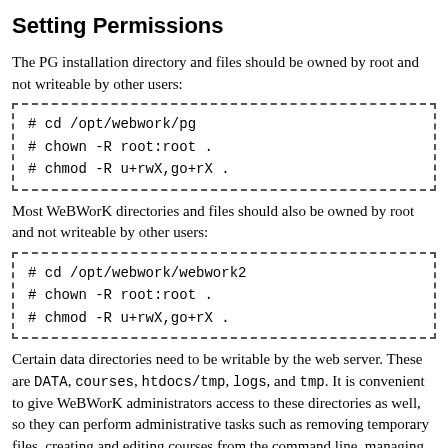Setting Permissions
The PG installation directory and files should be owned by root and not writeable by other users:
# cd /opt/webwork/pg
# chown -R root:root .
# chmod -R u+rwX,go+rX .
Most WeBWorK directories and files should also be owned by root and not writeable by other users:
# cd /opt/webwork/webwork2
# chown -R root:root .
# chmod -R u+rwX,go+rX .
Certain data directories need to be writable by the web server. These are DATA, courses, htdocs/tmp, logs, and tmp. It is convenient to give WeBWorK administrators access to these directories as well, so they can perform administrative tasks such as removing temporary files, creating and editing courses from the command line, managing